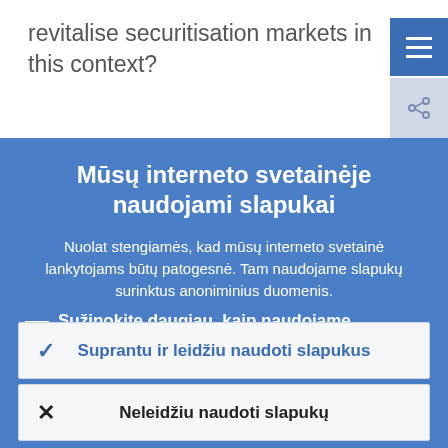revitalise securitisation markets in this context?
Mūsų interneto svetainėje naudojami slapukai
Nuolat stengiamės, kad mūsų interneto svetainė lankytojams būtų patogesnė. Tam naudojame slapukų surinktus anoniminius duomenis.
Sužinokite daugiau, kaip naudojame slapukus
Suprantu ir leidžiu naudoti slapukus
Neleidžiu naudoti slapukų